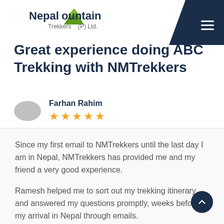Nepal Mountain Trekkers (P) Ltd.
Great experience doing ABC Trekking with NMTrekkers
Farhan Rahim — 5 stars
Since my first email to NMTrekkers until the last day I am in Nepal, NMTrekkers has provided me and my friend a very good experience.
Ramesh helped me to sort out my trekking itinerary and answered my questions promptly, weeks before my arrival in Nepal through emails.
Our guide for ABC Trek is Pralad, a gentleman with good command of English. There is no problem in